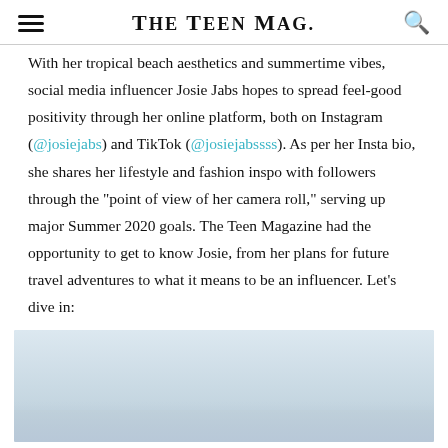The Teen Mag.
With her tropical beach aesthetics and summertime vibes, social media influencer Josie Jabs hopes to spread feel-good positivity through her online platform, both on Instagram (@josiejabs) and TikTok (@josiejabssss). As per her Insta bio, she shares her lifestyle and fashion inspo with followers through the "point of view of her camera roll," serving up major Summer 2020 goals. The Teen Magazine had the opportunity to get to know Josie, from her plans for future travel adventures to what it means to be an influencer. Let's dive in:
[Figure (photo): A light blue/sky photo area partially visible at bottom of page, appears to be an outdoor or beach scene with light blue sky]